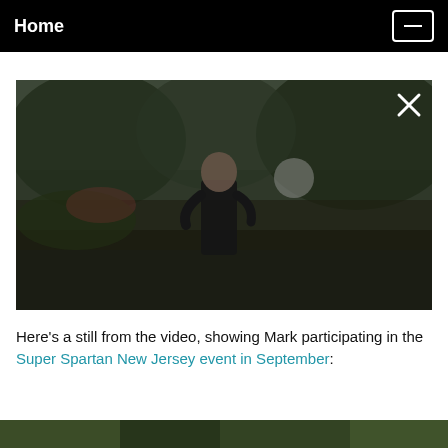Home
[Figure (photo): A blurry outdoor video still showing a person in a dark shirt standing on a path surrounded by trees and greenery. A white X close button is visible in the top-right corner of the image.]
Here’s a still from the video, showing Mark participating in the Super Spartan New Jersey event in September:
[Figure (photo): Partial view of another outdoor image at the bottom of the page, cropped.]